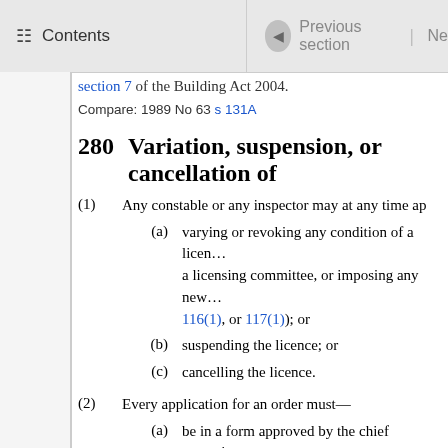Contents | Previous section | Ne
section 7 of the Building Act 2004.
Compare: 1989 No 63 s 131A
280 Variation, suspension, or cancellation of
(1) Any constable or any inspector may at any time ap
(a) varying or revoking any condition of a licence imposed by a licensing committee, or imposing any new condition under 116(1), or 117(1)); or
(b) suspending the licence; or
(c) cancelling the licence.
(2) Every application for an order must—
(a) be in a form approved by the chief executive and be made in the prescribed manner; and
(b) contain the prescribed particulars; and
(c) be made to the licensing authority.
(3) The grounds on which an application for an order m
(a) that the licensed premises have been conduc